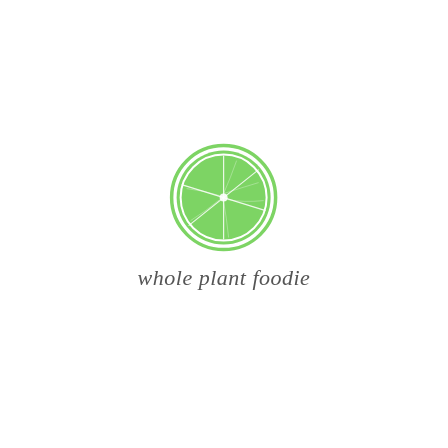[Figure (logo): Whole Plant Foodie logo: a green lime/citrus slice circle illustration above the text 'whole plant foodie' in cursive script]